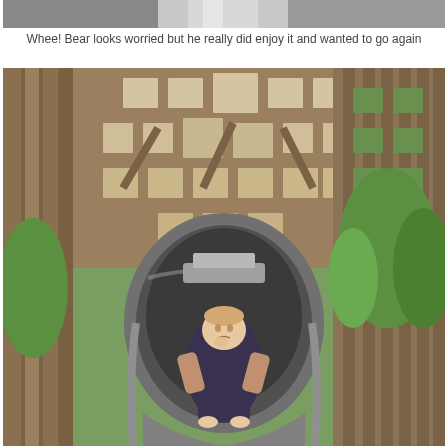[Figure (photo): Top portion of a photograph showing a metallic slide at a playground with wooden lattice structure in background, cropped at top of page]
Whee! Bear looks worried but he really did enjoy it and wanted to go again
[Figure (photo): A baby or toddler sitting in a large circular tunnel slide at a wooden playground structure. The child is looking at the camera with a worried expression. The slide is metallic/grey and the surrounding structure is made of weathered wood with lattice patterns. Green trees are visible in the background.]